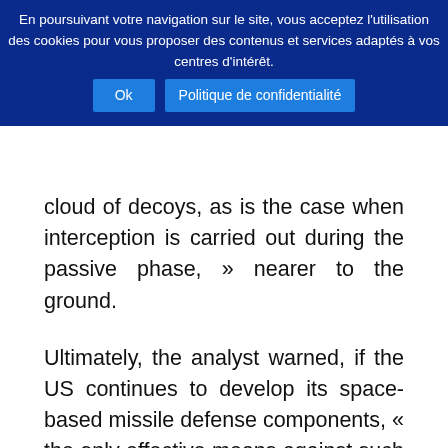En poursuivant votre navigation sur le site, vous acceptez l'utilisation des cookies pour vous proposer des contenus et services adaptés à vos centres d'intérêt. Ok Politique de confidentialité
cloud of decoys, as is the case when interception is carried out during the passive phase, » nearer to the ground.
Ultimately, the analyst warned, if the US continues to develop its space-based missile defense components, « the only effective means against such a system would be the use of anti-satellite weapons. We know that China has tested with such systems, and we have similar designs, even if they are not widely advertised. In my view, we can only respond to Washington through the combination of military and diplomatic efforts